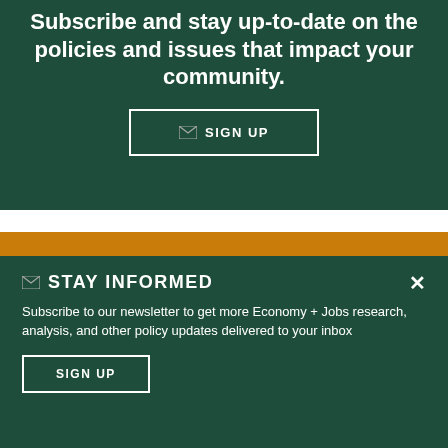Subscribe and stay up-to-date on the policies and issues that impact your community.
✉ SIGN UP
✉ STAY INFORMED
Subscribe to our newsletter to get more Economy + Jobs research, analysis, and other policy updates delivered to your inbox
SIGN UP